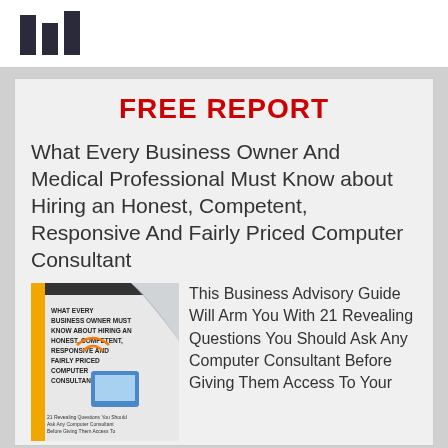[Figure (logo): Dark bar chart style logo/icon with three columns]
FREE REPORT
What Every Business Owner And Medical Professional Must Know about Hiring an Honest, Competent, Responsive And Fairly Priced Computer Consultant
[Figure (photo): Book cover: What Every Business Owner Must Know About Hiring an Honest, Competent, Responsive and Fairly Priced Computer Consultant - 21 Revealing Questions You Should Ask Any Computer Consultant Before Giving Them Access To Your]
This Business Advisory Guide Will Arm You With 21 Revealing Questions You Should Ask Any Computer Consultant Before Giving Them Access To Your